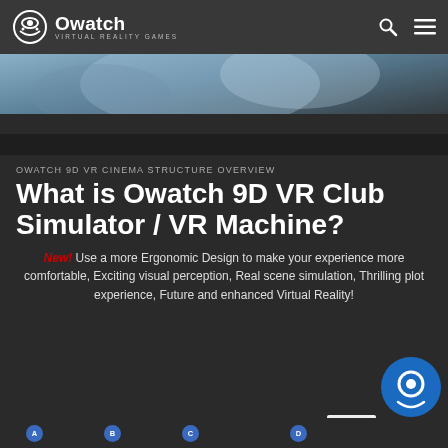Owatch Virtual Reality Games
[Figure (photo): Hero image showing VR headset/experience scene with blue tones]
Owatch 9D VR CINEMA STRUCTURE OVERVIEW
What is Owatch 9D VR Club Simulator / VR Machine?
New! Use a more Ergonomic Design to make your experience more comfortable, Exciting visual perception, Real scene simulation, Thrilling plot experience, Future and enhanced Virtual Reality!